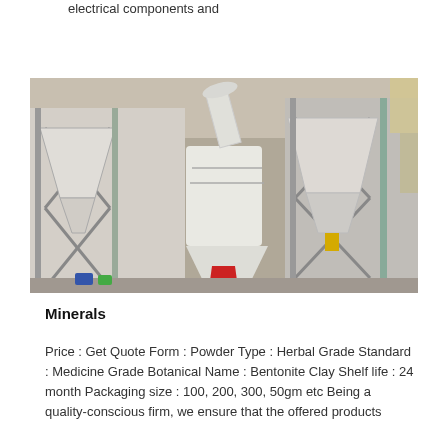electrical components and
[Figure (photo): Industrial mineral processing plant interior showing large white conical cyclone separator, hopper structures with X-braced steel frames, metal scaffolding, and a red object on the factory floor inside a corrugated metal building.]
Minerals
Price : Get Quote Form : Powder Type : Herbal Grade Standard : Medicine Grade Botanical Name : Bentonite Clay Shelf life : 24 month Packaging size : 100, 200, 300, 50gm etc Being a quality-conscious firm, we ensure that the offered products